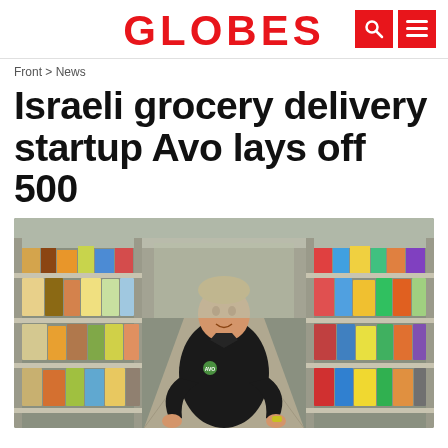GLOBES
Front > News
Israeli grocery delivery startup Avo lays off 500
[Figure (photo): A man in a black Avo-branded t-shirt standing in a warehouse grocery store aisle, surrounded by shelves stocked with various grocery products including canned goods, cleaning supplies, and dry goods on metal shelving units.]